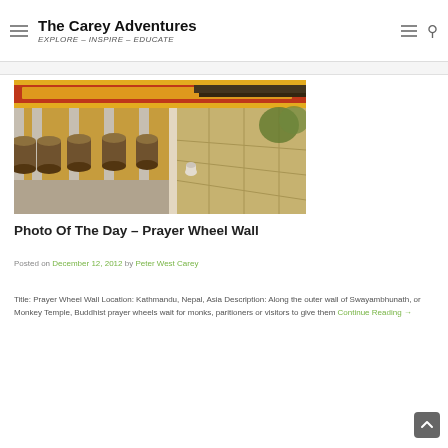The Carey Adventures — EXPLORE – INSPIRE – EDUCATE
[Figure (photo): Row of bronze Buddhist prayer wheels along the outer wall of Swayambhunath (Monkey Temple) in Kathmandu, Nepal, with Sanskrit/Devanagari script painted in yellow on a red background above the wheels, and a stone walkway leading into the distance at golden hour.]
Photo Of The Day – Prayer Wheel Wall
Posted on December 12, 2012 by Peter West Carey
Title: Prayer Wheel Wall Location: Kathmandu, Nepal, Asia Description: Along the outer wall of Swayambhunath, or Monkey Temple, Buddhist prayer wheels wait for monks, paritioners or visitors to give them Continue Reading →